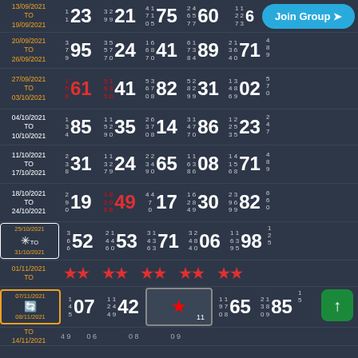| Date | G1-small | G1-big | G2-small | G2-big | G3-small | G3-big | G4-small | G4-big | G5-small | G5-big | side |
| --- | --- | --- | --- | --- | --- | --- | --- | --- | --- | --- | --- |
| 13/09/2021 TO 19/09/2021 | 6 7 9 | 23 | 3 2 9 9 | 21 | 4 1 7 1 0 5 | 75 | 2 4 6 5 7 7 | 60 | 1 1 2 2 7 3 | 6 |  |
| 20/09/2021 TO 26/09/2021 | 3 7 9 | 95 | 3 5 5 7 7 0 | 24 | 1 6 6 8 7 0 | 41 | 6 1 7 3 8 4 | 89 | 2 1 3 6 4 0 | 71 | 4 8 9 |
| 27/09/2021 TO 03/10/2021 | 1 5 0 | 61 | 5 1 6 3 5 0 | 41 | 5 3 6 7 0 8 | 82 | 5 2 8 2 9 9 | 31 | 1 3 4 8 6 9 | 02 | 5 7 0 |
| 04/10/2021 TO 10/10/2021 | 1 3 4 | 85 | 1 1 5 2 9 0 | 35 | 2 6 3 7 0 8 | 14 | 3 1 4 7 7 0 | 86 | 1 2 2 5 3 5 | 23 | 2 4 7 |
| 11/10/2021 TO 17/10/2021 | 2 3 8 | 31 | 1 1 3 2 7 9 | 24 | 2 2 3 4 9 0 | 65 | 1 1 6 3 8 6 | 08 | 1 4 1 5 6 8 | 71 | 4 8 9 |
| 18/10/2021 TO 24/10/2021 | 2 9 0 | 19 | 1 8 2 0 6 8 | 49 | 4 4 7 3 0 | 17 | 1 6 2 8 4 9 | 30 | 2 3 9 6 9 9 | 82 | 6 6 0 |
| 25/10/2021 TO 31/10/2021 | 3 6 6 | 52 | 2 1 4 4 6 0 | 53 | 3 1 4 3 6 3 | 71 | 3 2 4 8 4 0 | 06 | 1 1 6 3 9 5 | 98 | 1 2 5 |
| 01/11/2021 TO 07/11/2021 | ** ** | ** | ** ** | ** | ** ** | ** | ** ** | ** | ** ** | ** | ** |
| 08/11/2021 TO 14/11/2021 | 1 4 5 | 07 | 1 1 2 4 4 9 | 42 | 5 2 7 3 0 6 | 10 | 1 1 9 7 0 8 | 65 | 2 1 3 8 0 9 | 85 | 1 5 |